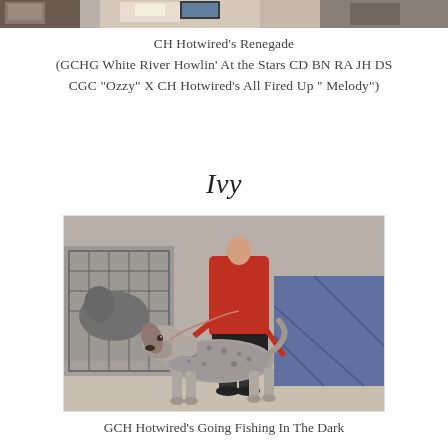[Figure (photo): Partial top strip of a photo showing dogs and people at what appears to be a dog show]
CH Hotwired's Renegade
(GCHG White River Howlin' At the Stars CD BN RA JH DS CGC "Ozzy" X CH Hotwired's All Fired Up " Melody")
Ivy
[Figure (photo): A German Shorthaired Pointer dog standing in a show pose, held by a person in a red jacket, at an indoor dog show]
GCH Hotwired's Going Fishing In The Dark